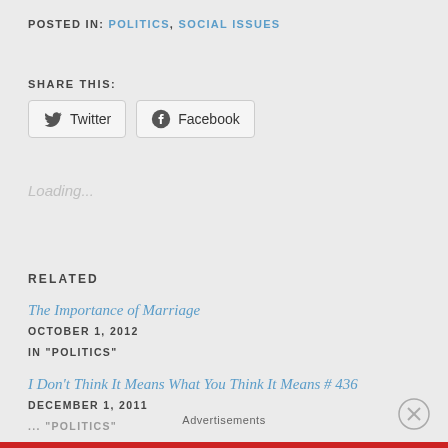POSTED IN: POLITICS, SOCIAL ISSUES
SHARE THIS:
[Figure (other): Twitter and Facebook share buttons]
Loading...
RELATED
The Importance of Marriage
OCTOBER 1, 2012
IN "POLITICS"
I Don't Think It Means What You Think It Means # 436
DECEMBER 1, 2011
... "POLITICS"
Advertisements